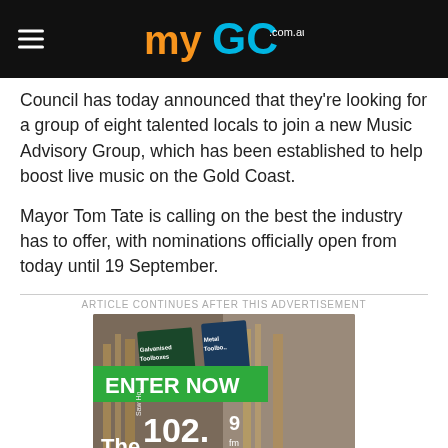myGC.com.au
Council has today announced that they're looking for a group of eight talented locals to join a new Music Advisory Group, which has been established to help boost live music on the Gold Coast.
Mayor Tom Tate is calling on the best the industry has to offer, with nominations officially open from today until 19 September.
ARTICLE CONTINUES AFTER THIS ADVERTISEMENT
[Figure (photo): Advertisement banner for 102.9 Hot Tomato FM The Playlist competition. Green banner at top reads ENTER NOW. Background shows a hardware store aisle. Bottom strip shows The 102.9 Hot Tomato Playlist logo and Enter to win a $100 Bunnings gift card text on red background.]